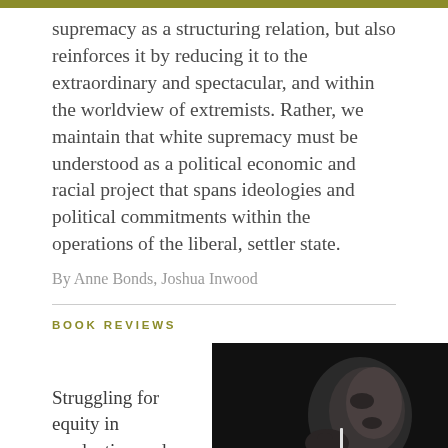supremacy as a structuring relation, but also reinforces it by reducing it to the extraordinary and spectacular, and within the worldview of extremists. Rather, we maintain that white supremacy must be understood as a political economic and racial project that spans ideologies and political commitments within the operations of the liberal, settler state.
By Anne Bonds, Joshua Inwood
BOOK REVIEWS
Struggling for equity in production and consumption of food without reckoning with the larger, ever-
[Figure (photo): Book cover of 'Black Food' shown in black and white photography with a person's face and the title 'Black Food' in yellow/green text at the bottom]